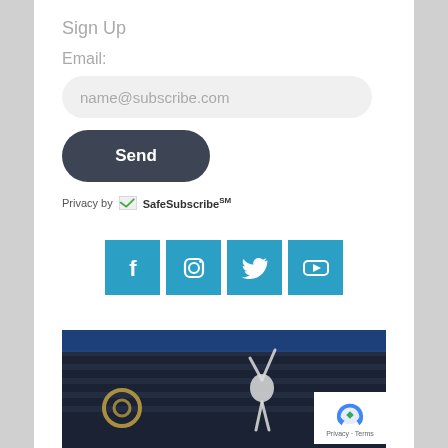Sign Up
Email:
name@subscribe.com
Send
Privacy by SafeSubscribeSM
[Figure (infographic): Row of four social media icons (Facebook, Instagram, Twitter, YouTube) on teal/blue square backgrounds]
[Figure (photo): A performer with arms raised at an outdoor stadium event, with a brass instrument player visible on the left and bleachers in the background. reCAPTCHA badge visible in the bottom right corner.]